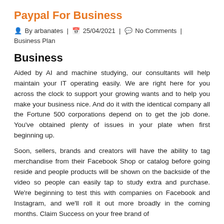Paypal For Business
By arbanates | 25/04/2021 | No Comments | Business Plan
Business
Aided by AI and machine studying, our consultants will help maintain your IT operating easily. We are right here for you across the clock to support your growing wants and to help you make your business nice. And do it with the identical company all the Fortune 500 corporations depend on to get the job done. You've obtained plenty of issues in your plate when first beginning up.
Soon, sellers, brands and creators will have the ability to tag merchandise from their Facebook Shop or catalog before going reside and people products will be shown on the backside of the video so people can easily tap to study extra and purchase. We're beginning to test this with companies on Facebook and Instagram, and we'll roll it out more broadly in the coming months. Claim Success on your free brand of